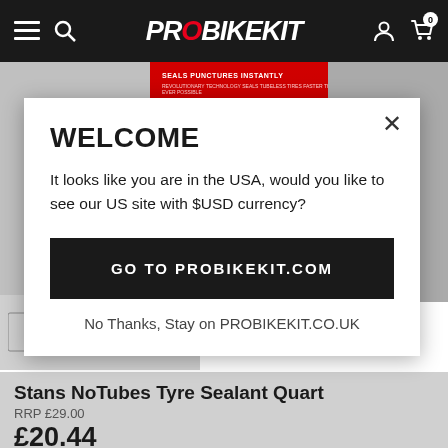PROBIKEKIT
[Figure (screenshot): Stans NoTubes product packaging (red and green can) partially visible behind modal overlay]
WELCOME
It looks like you are in the USA, would you like to see our US site with $USD currency?
GO TO PROBIKEKIT.COM
No Thanks, Stay on PROBIKEKIT.CO.UK
Stans NoTubes Tyre Sealant Quart
RRP £29.00
£20.44